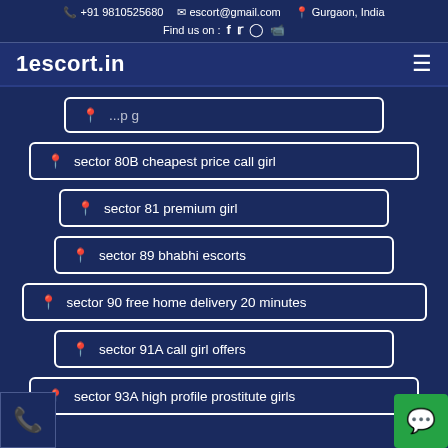+91 9810525680  escort@gmail.com  Gurgaon, India  Find us on : [social icons]
1escort.in
sector 80B cheapest price call girl
sector 81 premium girl
sector 89 bhabhi escorts
sector 90 free home delivery 20 minutes
sector 91A call girl offers
sector 93A high profile prostitute girls